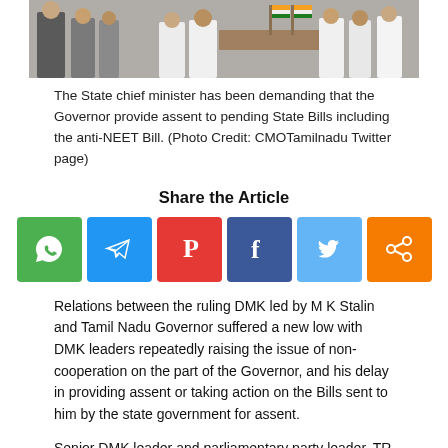[Figure (photo): Group photo showing people at an official meeting, with Indian flags visible on a desk in the background]
The State chief minister has been demanding that the Governor provide assent to pending State Bills including the anti-NEET Bill. (Photo Credit: CMOTamilnadu Twitter page)
Share the Article
[Figure (infographic): Row of six social media share buttons: WhatsApp (green), Telegram (blue), Pinterest (red), Facebook (dark blue), Twitter (light blue), Share/more (orange)]
Relations between the ruling DMK led by M K Stalin and Tamil Nadu Governor suffered a new low with DMK leaders repeatedly raising the issue of non-cooperation on the part of the Governor, and his delay in providing assent or taking action on the Bills sent to him by the state government for assent.
Senior DMK leader and parliamentary party leader, TR Baalu, had served notice in Parliament, seeking a calling-attention motion on the attitude of the Governor in Tamil Nadu, and led a walk-out of his party members when the motion was not taken up by the Chair.